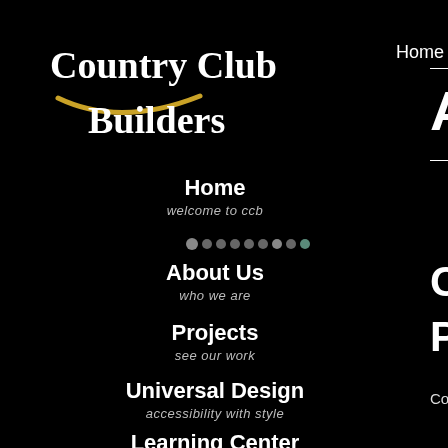[Figure (logo): Country Club Builders logo with gold swoosh accent and white serif text]
Home
Author A
Home
welcome to ccb
About Us
who we are
Projects
see our work
Universal Design
accessibility with style
Learning Center
Countertop
Perfect Pai
Countertops make a huge differ